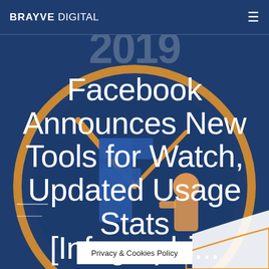BRAYVE DIGITAL
[Figure (infographic): Facebook Watch 2019 infographic background illustration with large clock and illustrated figure, blue and orange color scheme]
Facebook Announces New Tools for Watch, Updated Usage Stats [Infographi...
Privacy & Cookies Policy